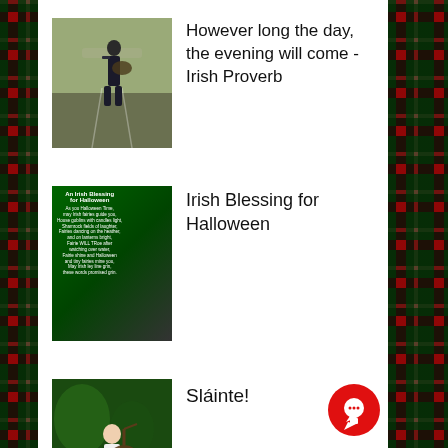[Figure (photo): Person in a kilt playing bagpipes on a road]
However long the day, the evening will come -Irish Proverb
[Figure (photo): An Irish Blessing for Halloween - green decorative text image]
Irish Blessing for Halloween
[Figure (photo): Person playing bagpipes outdoors]
Sláinte!